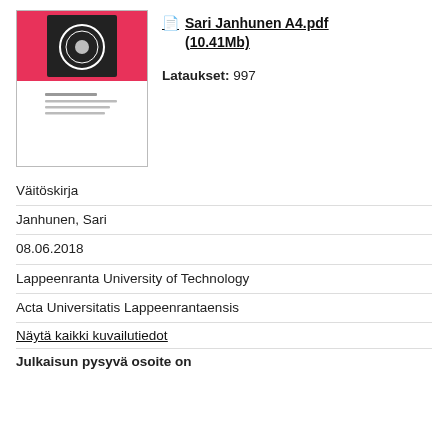[Figure (illustration): Thumbnail of a book cover with a pink/red top section and white bottom section, featuring a circular dark emblem in the center top area and small text lines in the lower portion.]
Sari Janhunen A4.pdf (10.41Mb)
Lataukset: 997
Väitöskirja
Janhunen, Sari
08.06.2018
Lappeenranta University of Technology
Acta Universitatis Lappeenrantaensis
Näytä kaikki kuvailutiedot
Julkaisun pysyvä osoite on